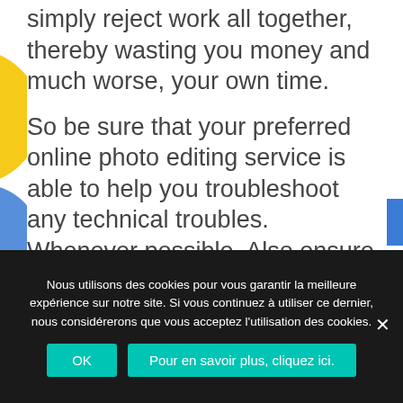simply reject work all together, thereby wasting you money and much worse, your own time.
So be sure that your preferred online photo editing service is able to help you troubleshoot any technical troubles. Whenever possible. Also ensure that your photoediting agency has a backup system so you will never regret deleting a photograph due to a technical glitch. This way, you will not have to waste your money hoping to receive the exact same
Nous utilisons des cookies pour vous garantir la meilleure expérience sur notre site. Si vous continuez à utiliser ce dernier, nous considérerons que vous acceptez l'utilisation des cookies.
OK
Pour en savoir plus, cliquez ici.